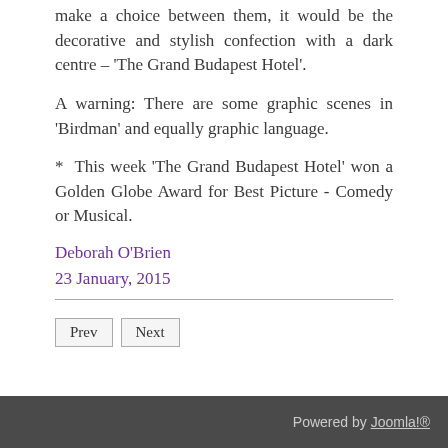make a choice between them, it would be the decorative and stylish confection with a dark centre – ‘The Grand Budapest Hotel’.
A warning: There are some graphic scenes in ‘Birdman’ and equally graphic language.
* This week ‘The Grand Budapest Hotel’ won a Golden Globe Award for Best Picture - Comedy or Musical.
Deborah O’Brien
23 January, 2015
Prev  Next
Powered by Joomla!®